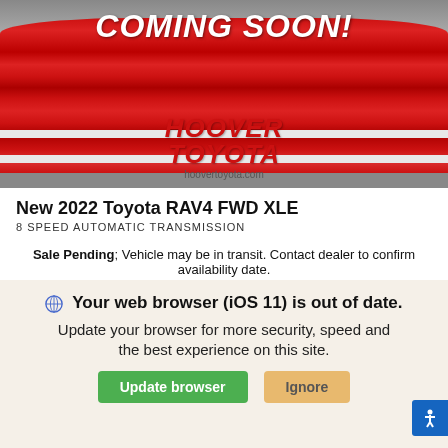[Figure (photo): Car covered with red cloth drape with COMING SOON! text and Hoover Toyota logo]
New 2022 Toyota RAV4 FWD XLE
8 SPEED AUTOMATIC TRANSMISSION
Sale Pending; Vehicle may be in transit. Contact dealer to confirm availability date.
MSRP¹  $32,305
Smart Price³  $32,305
FWD  2.5-Liter 4-Cyl
Your web browser (iOS 11) is out of date. Update your browser for more security, speed and the best experience on this site.
Update browser  Ignore